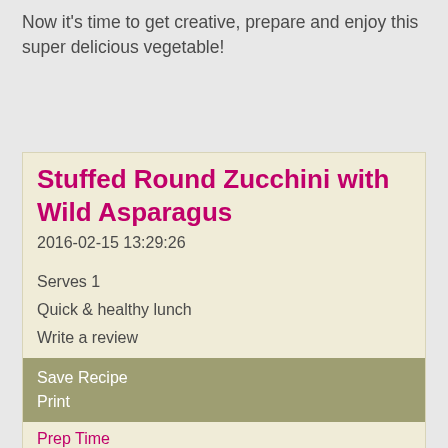Now it's time to get creative, prepare and enjoy this super delicious vegetable!
Stuffed Round Zucchini with Wild Asparagus
2016-02-15 13:29:26
Serves 1
Quick & healthy lunch
Write a review
Save Recipe
Print
Prep Time
10 min